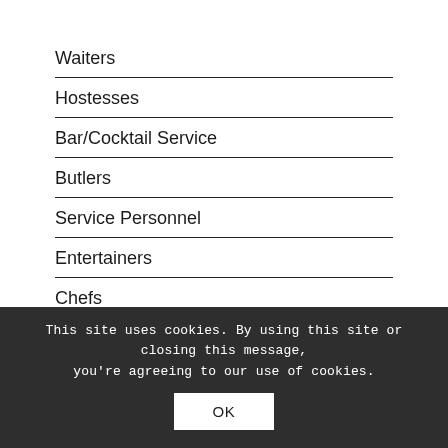Waiters
Hostesses
Bar/Cocktail Service
Butlers
Service Personnel
Entertainers
Chefs
Maids
This site uses cookies. By using this site or closing this message, you're agreeing to our use of cookies.
OK